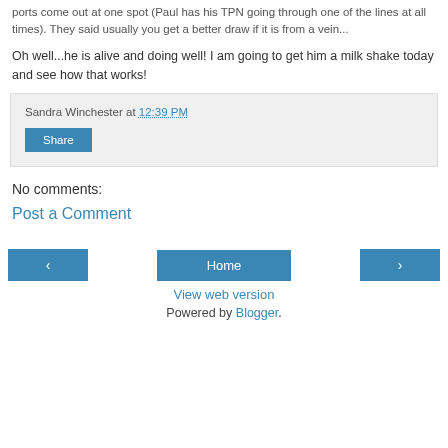ports come out at one spot (Paul has his TPN going through one of the lines at all times).  They said usually you get a better draw if it is from a vein...
Oh well...he is alive and doing well!  I am going to get him a milk shake today and see how that works!
Sandra Winchester at 12:39 PM
Share
No comments:
Post a Comment
‹
Home
›
View web version
Powered by Blogger.